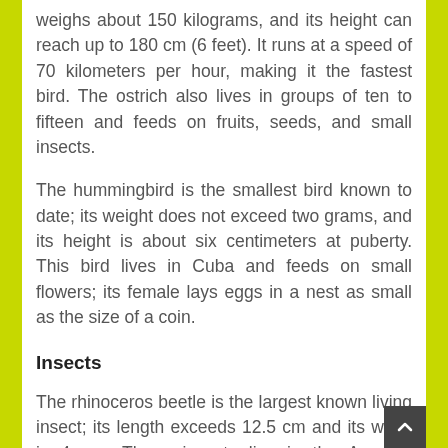weighs about 150 kilograms, and its height can reach up to 180 cm (6 feet). It runs at a speed of 70 kilometers per hour, making it the fastest bird. The ostrich also lives in groups of ten to fifteen and feeds on fruits, seeds, and small insects.
The hummingbird is the smallest bird known to date; its weight does not exceed two grams, and its height is about six centimeters at puberty. This bird lives in Cuba and feeds on small flowers; its female lays eggs in a nest as small as the size of a coin.
Insects
The rhinoceros beetle is the largest known living insect; its length exceeds 12.5 cm and its width is 4 cm. These insects live in the Amazon rainforest and have a solid shield that protects them, so they almost have no predators.
As for the smallest insect, it is the fairy wasp, with an average length of less than 1 mm. This insect include